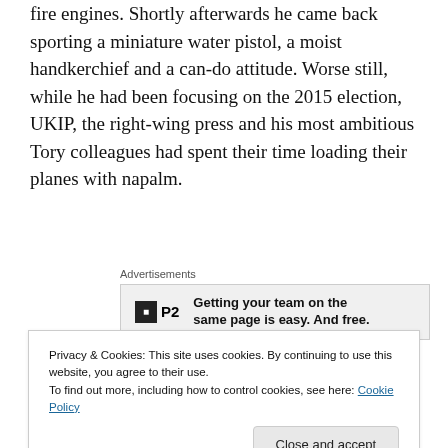fire engines. Shortly afterwards he came back sporting a miniature water pistol, a moist handkerchief and a can-do attitude. Worse still, while he had been focusing on the 2015 election, UKIP, the right-wing press and his most ambitious Tory colleagues had spent their time loading their planes with napalm.
[Figure (other): Advertisement banner for P2 product: 'Getting your team on the same page is easy. And free.']
David's sudden switch, a few months ago, to fighting the
Privacy & Cookies: This site uses cookies. By continuing to use this website, you agree to their use.
To find out more, including how to control cookies, see here: Cookie Policy
Close and accept